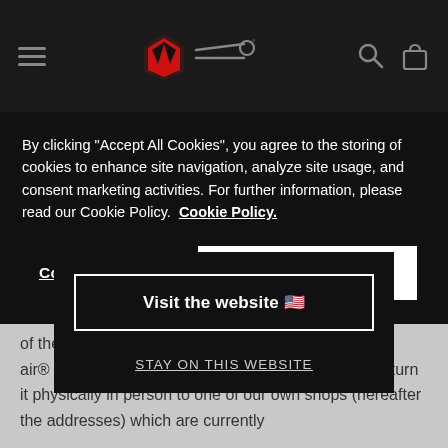[Figure (screenshot): Navigation bar with hamburger menu, Dainese logo (red winged icon), Ride filter logo, search icon, and shopping bag icon on dark background]
By clicking "Accept All Cookies", you agree to the storing of cookies to enhance site navigation, analyze site usage, and consent marketing activities. For further information, please read our Cookie Policy.  Cookie Policy.
Cookies Settings
Accept All Cookies
return, Dai…sponsible for the tra…accept them as re…d will be issued.
There is on…return of the D-air®….com: return it physically in person to one of our own shops (hereafter the addresses) which are currently
Visit the website 🇺🇸
STAY ON THIS WEBSITE